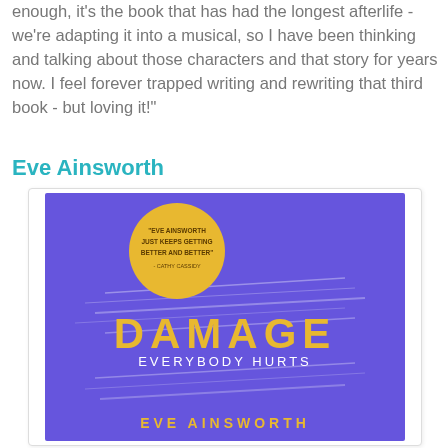enough, it's the book that has had the longest afterlife - we're adapting it into a musical, so I have been thinking and talking about those characters and that story for years now. I feel forever trapped writing and rewriting that third book - but loving it!"
Eve Ainsworth
[Figure (photo): Book cover of 'Damage - Everybody Hurts' by Eve Ainsworth. Purple/violet background with diagonal scratch/slash marks across the cover. A gold circle at the top contains a quote: 'Eve Ainsworth just keeps getting better and better - Cathy Cassidy'. The title 'DAMAGE' appears in large gold letters, with 'EVERYBODY HURTS' below it in smaller white text. The author name 'EVE AINSWORTH' appears at the bottom in gold letters.]